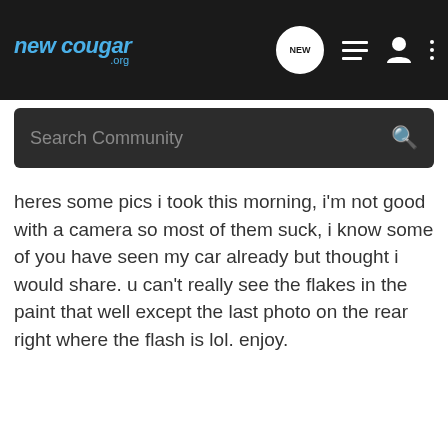newcougar.org
Search Community
heres some pics i took this morning, i'm not good with a camera so most of them suck, i know some of you have seen my car already but thought i would share. u can't really see the flakes in the paint that well except the last photo on the rear right where the flash is lol. enjoy.